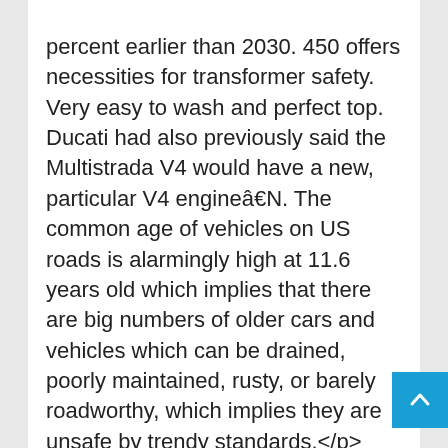percent earlier than 2030. 450 offers necessities for transformer safety. Very easy to wash and perfect top. Ducati had also previously said the Multistrada V4 would have a new, particular V4 engineâ€N. The common age of vehicles on US roads is alarmingly high at 11.6 years old which implies that there are big numbers of older cars and vehicles which can be drained, poorly maintained, rusty, or barely roadworthy, which implies they are unsafe by trendy standards.</p> <h2>logan paul headband pop tart socks primark</h2> <p>Some also require businesses to be cashflow positive to be eligible for financing.